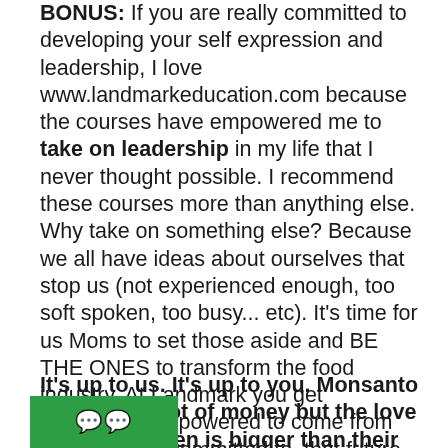BONUS: If you are really committed to developing your self expression and leadership, I love www.landmarkeducation.com because the courses have empowered me to take on leadership in my life that I never thought possible. I recommend these courses more than anything else. Why take on something else? Because we all have ideas about ourselves that stop us (not experienced enough, too soft spoken, too busy... etc). It's time for us Moms to set those aside and BE THE ONES to transform the food industry. At Landmark you get completely empowered to come from what you are committed to..that future you want..rather than all the reasons why you might not do it. Don't let those reasons stop you! No matter what you do, take on the bonus or not, it's time!!!
It's up to us. It's up to you. Monsanto may have a lot of money but the love for our children is bigger than their wallets. The FDA and government may have a lot of power but we have the gift of
[Figure (other): Green rectangle overlay with emoji characters (likely chat/messaging icons) in white]